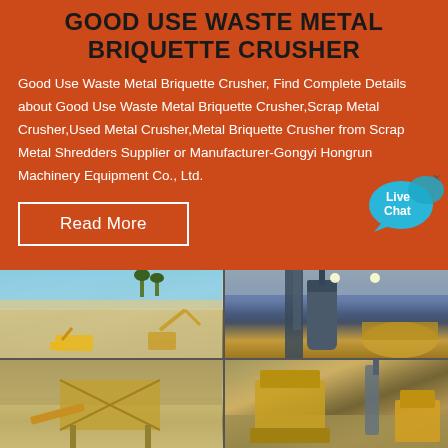GOOD USE WASTE METAL BRIQUETTE CRUSHER
Good Use Waste Metal Briquette Crusher, Find Complete Details about Good Use Waste Metal Briquette Crusher,Scrap Metal Crusher,Used Metal Crusher,Metal Briquette Crusher from Scrap Metal Shredders Supplier or Manufacturer-Gongyi Hongrun Machinery Equipment Co., Ltd.
Read More
[Figure (photo): Quarry site with heavy machinery including excavator and loader working in open pit limestone or rock quarry]
[Figure (photo): Industrial interior showing large metal processing or dust collection equipment with pipes and cylindrical units]
[Figure (photo): Mining or quarrying site showing screening or conveying equipment on sandy/dusty terrain]
[Figure (photo): Industrial crusher or shredder machinery in outdoor or semi-outdoor setting with yellow equipment]